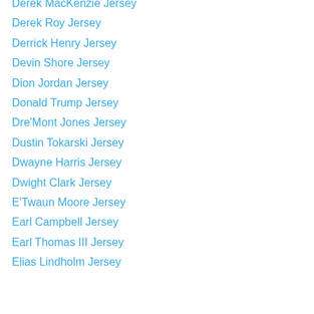Derek MacKenzie Jersey
Derek Roy Jersey
Derrick Henry Jersey
Devin Shore Jersey
Dion Jordan Jersey
Donald Trump Jersey
Dre'Mont Jones Jersey
Dustin Tokarski Jersey
Dwayne Harris Jersey
Dwight Clark Jersey
E'Twaun Moore Jersey
Earl Campbell Jersey
Earl Thomas III Jersey
Elias Lindholm Jersey